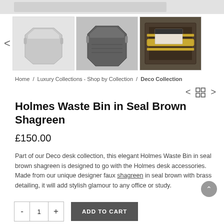[Figure (photo): Three product thumbnails showing waste bins: light grey hexagonal bin, dark grey hexagonal bin, dark brown box with brass fittings (shown from top). A left arrow navigation indicator is visible.]
Home / Luxury Collections - Shop by Collection / Deco Collection
Holmes Waste Bin in Seal Brown Shagreen
£150.00
Part of our Deco desk collection, this elegant Holmes Waste Bin in seal brown shagreen is designed to go with the Holmes desk accessories. Made from our unique designer faux shagreen in seal brown with brass detailing, it will add stylish glamour to any office or study.